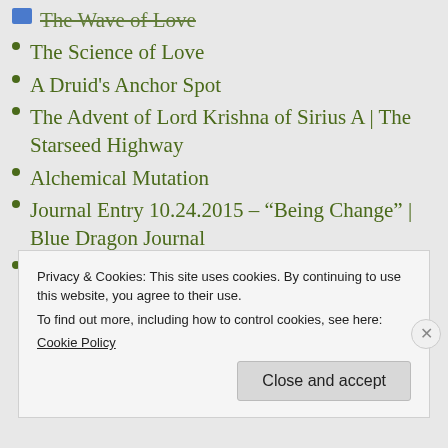The Wave of Love
The Science of Love
A Druid's Anchor Spot
The Advent of Lord Krishna of Sirius A | The Starseed Highway
Alchemical Mutation
Journal Entry 10.24.2015 – “Being Change” | Blue Dragon Journal
Brandon West, The Mind Unleashed – You Are God – The True Teachings of Jesus – Project Global Awakening – 11-7-15 | Higher
Privacy & Cookies: This site uses cookies. By continuing to use this website, you agree to their use.
To find out more, including how to control cookies, see here: Cookie Policy
Close and accept